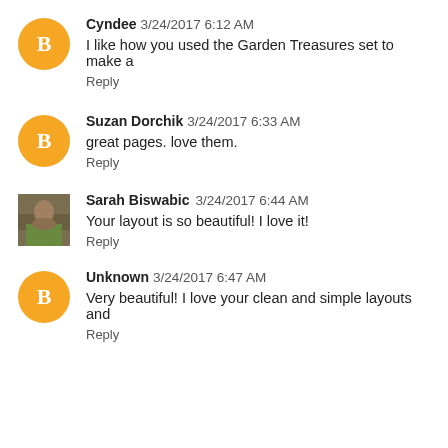Cyndee 3/24/2017 6:12 AM
I like how you used the Garden Treasures set to make a
Reply
Suzan Dorchik 3/24/2017 6:33 AM
great pages. love them.
Reply
Sarah Biswabic 3/24/2017 6:44 AM
Your layout is so beautiful! I love it!
Reply
Unknown 3/24/2017 6:47 AM
Very beautiful! I love your clean and simple layouts and
Reply